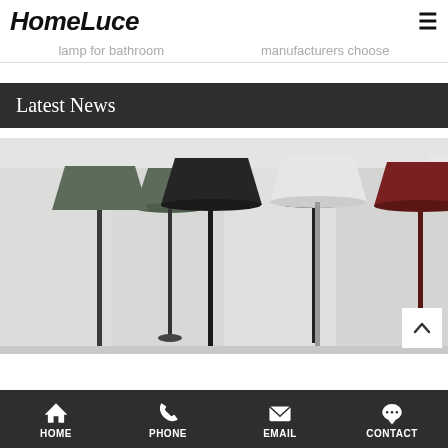HomeLuce
lamp for bathroom   manufacturers choose
Latest News
[Figure (photo): Four designer table lamps in different colors (dark green, black, white, dark red/burgundy) displayed on a light gray background]
HOME   PHONE   EMAIL   CONTACT